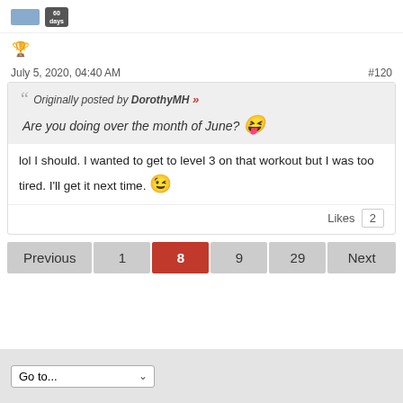[Figure (other): User avatar placeholder and 60 days badge icon at the top]
[Figure (other): Trophy/achievement icon]
July 5, 2020, 04:40 AM    #120
Originally posted by DorothyMH »
Are you doing over the month of June? 😝
lol I should. I wanted to get to level 3 on that workout but I was too tired. I'll get it next time. 😉
Likes  2
Previous  1  8  9  29  Next
Go to...